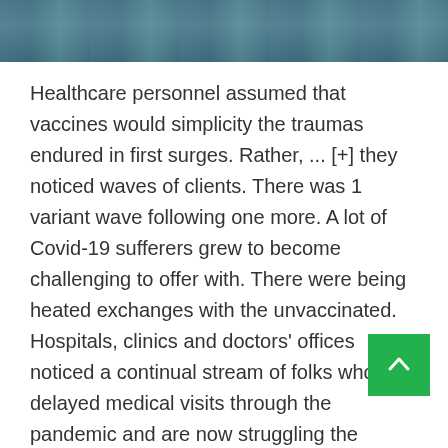[Figure (photo): Photograph strip at top of page, showing a blurred teal/blue-green background, likely a hospital or medical environment.]
Healthcare personnel assumed that vaccines would simplicity the traumas endured in first surges. Rather, ... [+] they noticed waves of clients. There was 1 variant wave following one more. A lot of Covid-19 sufferers grew to become challenging to offer with. There were being heated exchanges with the unvaccinated. Hospitals, clinics and doctors' offices noticed a continual stream of folks who delayed medical visits through the pandemic and are now struggling the implications. To include to the strain, there were stories of assaults on nurses and other healthcare workers. In accordance to the Nationwide Academies of Sciences, Engineering and Medicine, lo felt the need to have to depart.